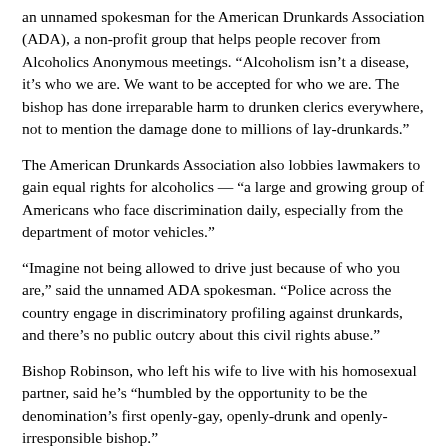an unnamed spokesman for the American Drunkards Association (ADA), a non-profit group that helps people recover from Alcoholics Anonymous meetings. “Alcoholism isn’t a disease, it’s who we are. We want to be accepted for who we are. The bishop has done irreparable harm to drunken clerics everywhere, not to mention the damage done to millions of lay-drunkards.”
The American Drunkards Association also lobbies lawmakers to gain equal rights for alcoholics — “a large and growing group of Americans who face discrimination daily, especially from the department of motor vehicles.”
“Imagine not being allowed to drive just because of who you are,” said the unnamed ADA spokesman. “Police across the country engage in discriminatory profiling against drunkards, and there’s no public outcry about this civil rights abuse.”
Bishop Robinson, who left his wife to live with his homosexual partner, said he’s “humbled by the opportunity to be the denomination’s first openly-gay, openly-drunk and openly-irresponsible bishop.”
“My life sends a refreshing message to our parishioners of redemption without repentance,” he said. “It’s a real improvement on old-fashioned Biblical principles.”